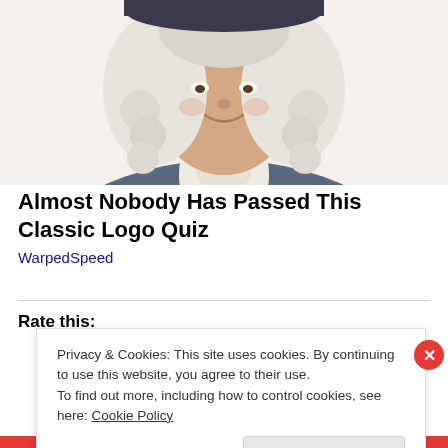[Figure (illustration): Illustration of a historical figure wearing a white powdered wig and a dark blue colonial-era coat with a white cravat, cropped at chest level, smiling.]
Almost Nobody Has Passed This Classic Logo Quiz
WarpedSpeed
Rate this:
Privacy & Cookies: This site uses cookies. By continuing to use this website, you agree to their use.
To find out more, including how to control cookies, see here: Cookie Policy
Close and accept